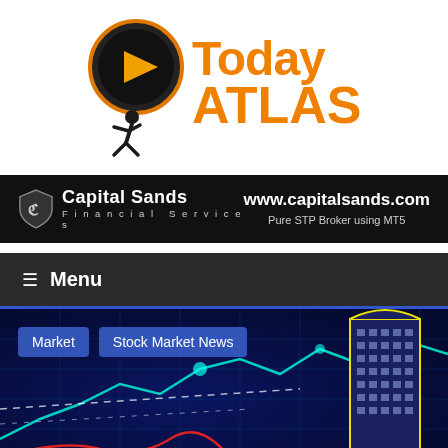[Figure (logo): Today Atlas logo — orange circular play button icon with a running figure, bold orange text 'Today ATLAS']
[Figure (infographic): Capital Sands Financial Services banner ad on black background. Left: shield logo with 'Capital Sands Financial Services'. Right: www.capitalsands.com, Pure STP Broker using MT5]
☰  Menu
[Figure (photo): Stock market hero image showing a blue digital financial graph with glowing teal lines, a red curve, white dashed lines, and a stylized yellow-outlined building (BSE/stock exchange) on the right side. Overlay tags: 'Market' and 'Stock Market News']